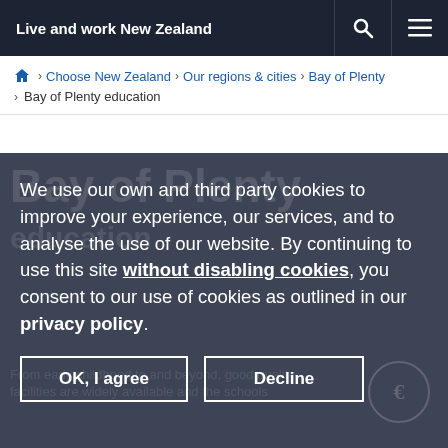Live and work New Zealand
Home > Choose New Zealand > Our regions & cities > Bay of Plenty > Bay of Plenty education
We use our own and third party cookies to improve your experience, our services, and to analyse the use of our website. By continuing to use this site without disabling cookies, you consent to our use of cookies as outlined in our privacy policy.
OK, I agree | Decline